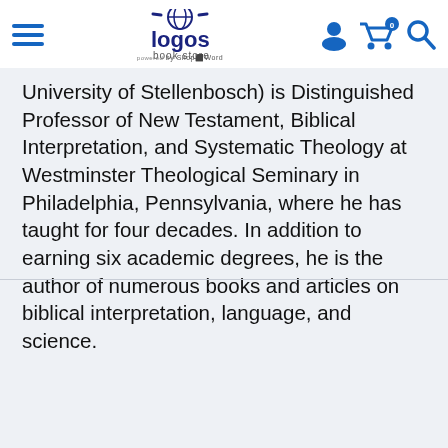Logos Book Store — navigation header with hamburger menu, logo, and cart/search icons
University of Stellenbosch) is Distinguished Professor of New Testament, Biblical Interpretation, and Systematic Theology at Westminster Theological Seminary in Philadelphia, Pennsylvania, where he has taught for four decades. In addition to earning six academic degrees, he is the author of numerous books and articles on biblical interpretation, language, and science.